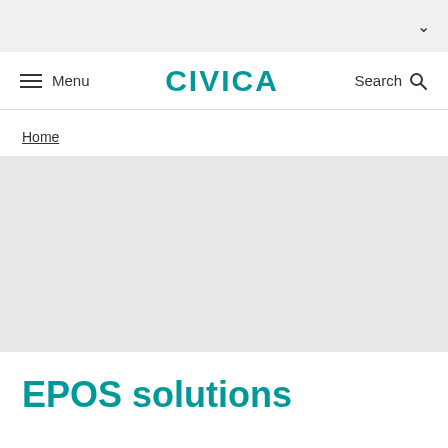CIVICA
Menu
Search
Home
[Figure (photo): Light grey placeholder hero image area]
EPOS solutions